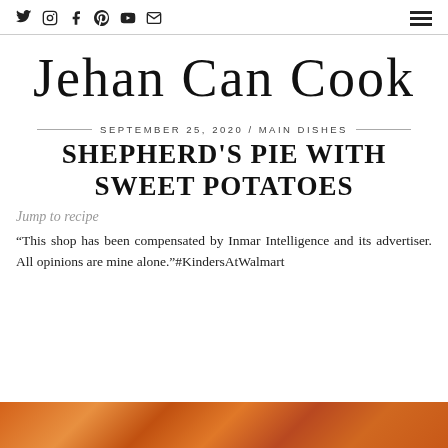Social icons: Twitter, Instagram, Facebook, Pinterest, YouTube, Email | Hamburger menu
Jehan Can Cook
SEPTEMBER 25, 2020 / MAIN DISHES
SHEPHERD'S PIE WITH SWEET POTATOES
Jump to recipe
“This shop has been compensated by Inmar Intelligence and its advertiser. All opinions are mine alone.”#KindersAtWalmart
[Figure (photo): Food photo strip at the bottom showing shepherd's pie with sweet potatoes, orange-toned]